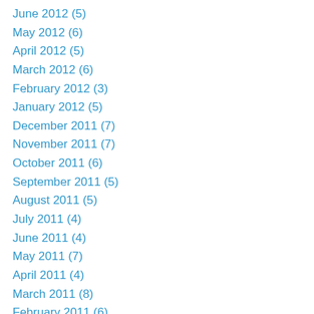June 2012 (5)
May 2012 (6)
April 2012 (5)
March 2012 (6)
February 2012 (3)
January 2012 (5)
December 2011 (7)
November 2011 (7)
October 2011 (6)
September 2011 (5)
August 2011 (5)
July 2011 (4)
June 2011 (4)
May 2011 (7)
April 2011 (4)
March 2011 (8)
February 2011 (6)
January 2011 (4)
December 2010 (5)
November 2010 (8)